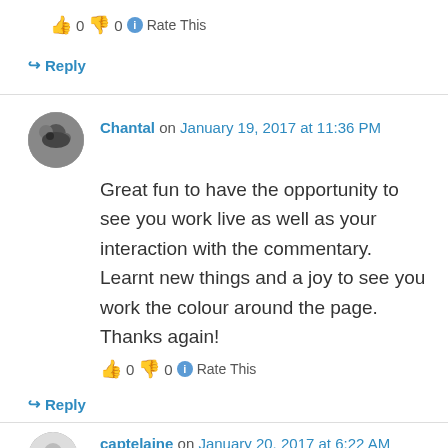👍 0 👎 0 ℹ Rate This
↪ Reply
Chantal on January 19, 2017 at 11:36 PM
Great fun to have the opportunity to see you work live as well as your interaction with the commentary. Learnt new things and a joy to see you work the colour around the page. Thanks again!
👍 0 👎 0 ℹ Rate This
↪ Reply
captelaine on January 20, 2017 at 6:22 AM